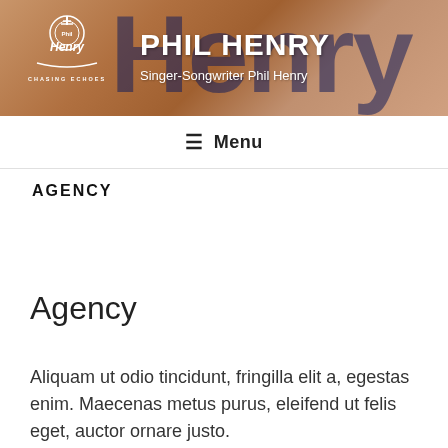[Figure (photo): Website header banner for Phil Henry singer-songwriter. Shows a man with a beard against a brick wall background. Large dark blue distressed text 'Henry' appears as background design. White Phil Henry logo with 'Chasing Echoes' text on the left side.]
PHIL HENRY
Singer-Songwriter Phil Henry
≡ Menu
AGENCY
Agency
Aliquam ut odio tincidunt, fringilla elit a, egestas enim. Maecenas metus purus, eleifend ut felis eget, auctor ornare justo.